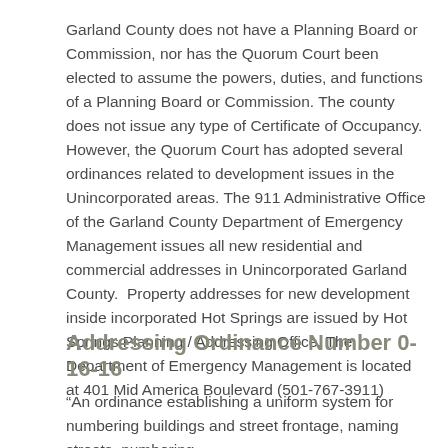Garland County does not have a Planning Board or Commission, nor has the Quorum Court been elected to assume the powers, duties, and functions of a Planning Board or Commission. The county does not issue any type of Certificate of Occupancy. However, the Quorum Court has adopted several ordinances related to development issues in the Unincorporated areas. The 911 Administrative Office of the Garland County Department of Emergency Management issues all new residential and commercial addresses in Unincorporated Garland County.  Property addresses for new development inside incorporated Hot Springs are issued by Hot Springs Planning / Addressing Office. The Department of Emergency Management is located at 401 Mid America Boulevard (501-767-3911)
Addressing Ordinance Number 0-16-16
“An ordinance establishing a uniform system for numbering buildings and street frontage, naming streets, numbering